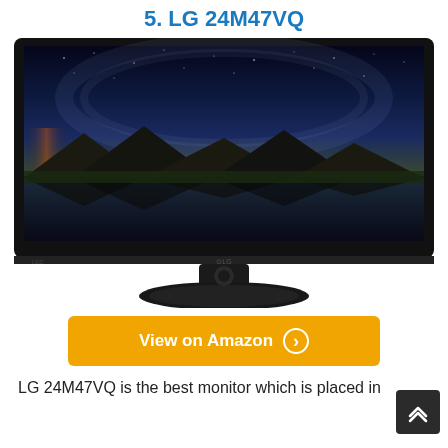5. LG 24M47VQ
[Figure (photo): Photo of LG 24M47VQ monitor showing a landscape with starry night sky, mountains and lake reflection on the screen, with a black bezel and stand.]
View on Amazon
LG 24M47VQ is the best monitor which is placed in